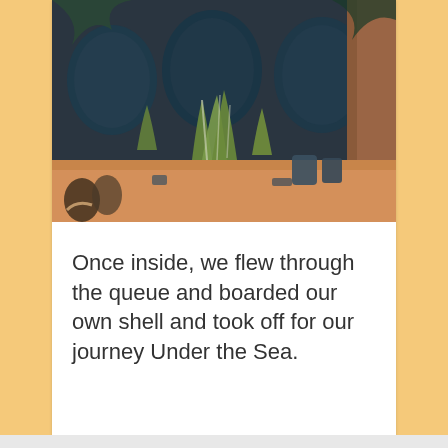[Figure (photo): A themed scene with dark blue/teal sculptural elements, plants, and orange/sandy textures suggesting an underwater or tropical attraction queue area.]
Once inside, we flew through the queue and boarded our own shell and took off for our journey Under the Sea.